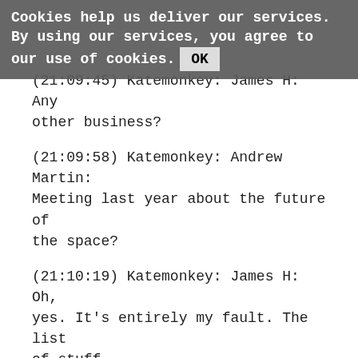Cookies help us deliver our services. By using our services, you agree to our use of cookies. OK
(21:09:45) Katemonkey: James H: Any other business?
(21:09:58) Katemonkey: Andrew Martin: Meeting last year about the future of the space?
(21:10:19) Katemonkey: James H: Oh, yes. It's entirely my fault. The list of stuff                         that we have from the strategy meeting.
(21:10:33) Katemonkey: We now have a working system in HMS that we can use for the